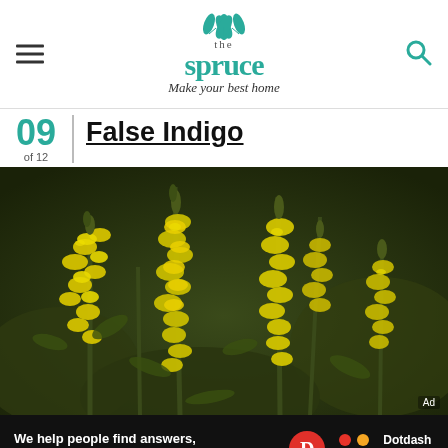the spruce — Make your best home
09 of 12 | False Indigo
[Figure (photo): Close-up photo of False Indigo (Baptisia) plant with bright yellow flowers and green foliage, multiple spikes of small pea-like blossoms.]
We help people find answers, solve problems and get inspired. Dotdash meredith